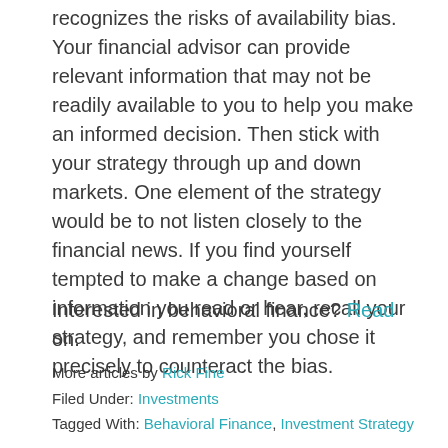recognizes the risks of availability bias. Your financial advisor can provide relevant information that may not be readily available to you to help you make an informed decision. Then stick with your strategy through up and down markets. One element of the strategy would be to not listen closely to the financial news. If you find yourself tempted to make a change based on information you read or hear, recall your strategy, and remember you chose it precisely to counteract the bias.
Interested in behavioral finance? Read on.
More articles by Rick Fine
Filed Under: Investments
Tagged With: Behavioral Finance, Investment Strategy